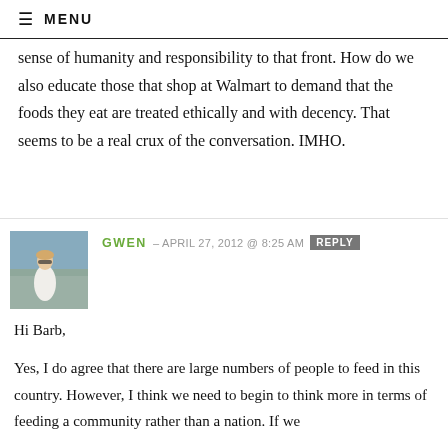≡ MENU
sense of humanity and responsibility to that front. How do we also educate those that shop at Walmart to demand that the foods they eat are treated ethically and with decency. That seems to be a real crux of the conversation. IMHO.
GWEN – APRIL 27, 2012 @ 8:25 AM  REPLY
Hi Barb,
Yes, I do agree that there are large numbers of people to feed in this country. However, I think we need to begin to think more in terms of feeding a community rather than a nation. If we